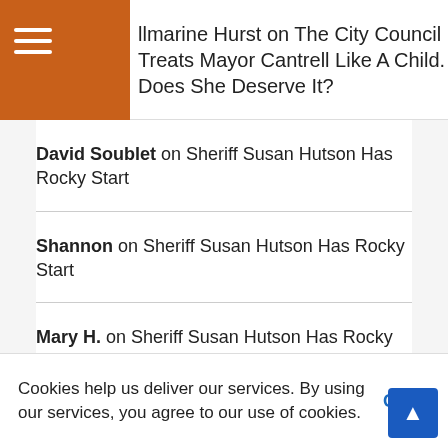llmarine Hurst on The City Council Treats Mayor Cantrell Like A Child. Does She Deserve It?
David Soublet on Sheriff Susan Hutson Has Rocky Start
Shannon on Sheriff Susan Hutson Has Rocky Start
Mary H. on Sheriff Susan Hutson Has Rocky Start
Dwayne Black on The Mayor Flexed on the Press
Pauline on The Mayor Flexed on the Press
Unike on The City Council Treats Mayor Cantrell
Cookies help us deliver our services. By using our services, you agree to our use of cookies. Got it